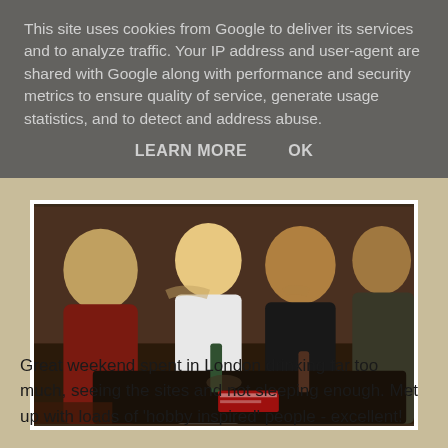This site uses cookies from Google to deliver its services and to analyze traffic. Your IP address and user-agent are shared with Google along with performance and security metrics to ensure quality of service, generate usage statistics, and to detect and address abuse.
LEARN MORE    OK
[Figure (photo): Four men sitting together in what appears to be a bar or social gathering, smiling, with drinks on the table. Indoor setting with warm lighting.]
Great weekend spent in London drinking far too much, seeing the sites and not sleeping enough. Met up with loads of 'hobby inspired' people - excellent!